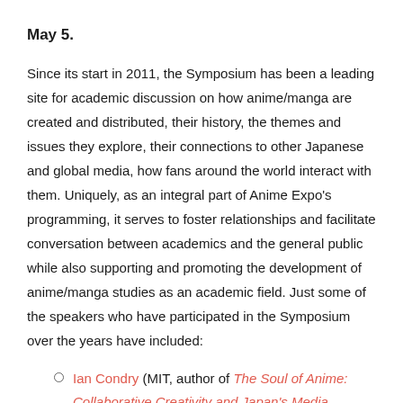May 5.
Since its start in 2011, the Symposium has been a leading site for academic discussion on how anime/manga are created and distributed, their history, the themes and issues they explore, their connections to other Japanese and global media, how fans around the world interact with them. Uniquely, as an integral part of Anime Expo's programming, it serves to foster relationships and facilitate conversation between academics and the general public while also supporting and promoting the development of anime/manga studies as an academic field. Just some of the speakers who have participated in the Symposium over the years have included:
Ian Condry (MIT, author of The Soul of Anime: Collaborative Creativity and Japan's Media Success